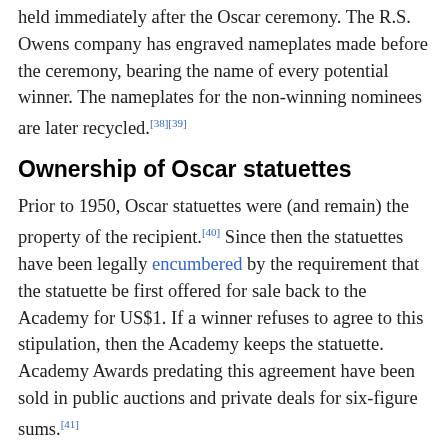held immediately after the Oscar ceremony. The R.S. Owens company has engraved nameplates made before the ceremony, bearing the name of every potential winner. The nameplates for the non-winning nominees are later recycled.[38][39]
Ownership of Oscar statuettes
Prior to 1950, Oscar statuettes were (and remain) the property of the recipient.[40] Since then the statuettes have been legally encumbered by the requirement that the statuette be first offered for sale back to the Academy for US$1. If a winner refuses to agree to this stipulation, then the Academy keeps the statuette. Academy Awards predating this agreement have been sold in public auctions and private deals for six-figure sums.[41]
In 1989, Michael Todd's grandson tried to sell